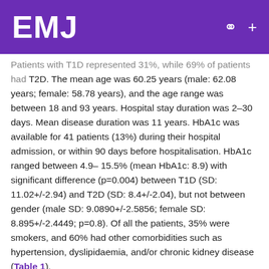EMJ
Patients with T1D represented 31%, while 69% of patients had T2D. The mean age was 60.25 years (male: 62.08 years; female: 58.78 years), and the age range was between 18 and 93 years. Hospital stay duration was 2–30 days. Mean disease duration was 11 years. HbA1c was available for 41 patients (13%) during their hospital admission, or within 90 days before hospitalisation. HbA1c ranged between 4.9–15.5% (mean HbA1c: 8.9) with significant difference (p=0.004) between T1D (SD: 11.02+/-2.94) and T2D (SD: 8.4+/-2.04), but not between gender (male SD: 9.0890+/-2.5856; female SD: 8.895+/-2.4449; p=0.8). Of all the patients, 35% were smokers, and 60% had other comorbidities such as hypertension, dyslipidaemia, and/or chronic kidney disease (Table 1).